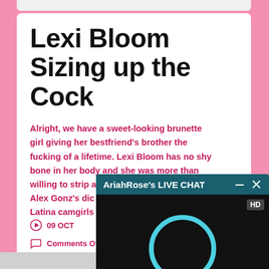Lexi Bloom Sizing up the Cock
Alright, we have a sweet-looking brunette girl giving her bestfriend's brother the fucking of a lifetime. Lexi Bloom has no shy bone in her body and she was more than willing to strip a... Alex Gonz's dic... Latina camgirls...
09 OCT
Comments Off
[Figure (screenshot): AriahRose's LIVE CHAT overlay with dark teal header bar, HD video player showing a partial teal circle on black background]